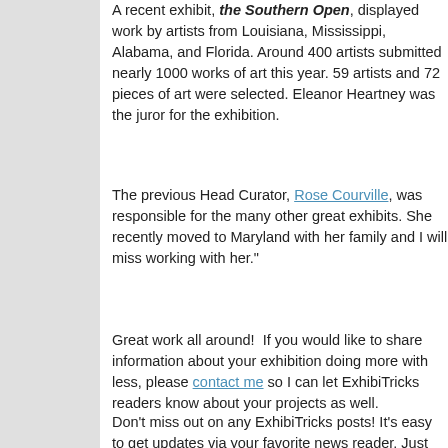A recent exhibit, the Southern Open, displayed work by artists from Louisiana, Mississippi, Alabama, and Florida. Around 400 artists submitted nearly 1000 works of art this year. 59 artists and 72 pieces of art were selected. Eleanor Heartney was the juror for the exhibition.
The previous Head Curator, Rose Courville, was responsible for the many other great exhibits. She recently moved to Maryland with her family and I will miss working with her."
Great work all around!  If you would like to share information about your exhibition doing more with less, please contact me so I can let ExhibiTricks readers know about your projects as well.
Don't miss out on any ExhibiTricks posts! It's easy to get updates via your favorite news reader. Just click the "Free Updates" link on the top of the blog.